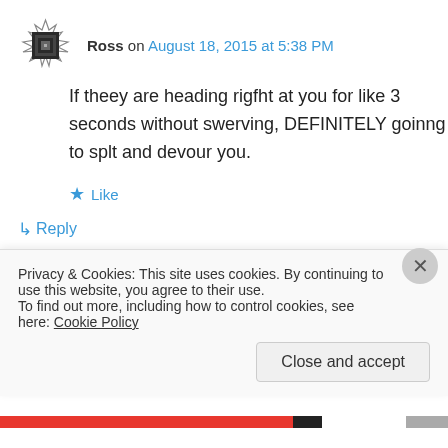Ross on August 18, 2015 at 5:38 PM
If theey are heading rigfht at you for like 3 seconds without swerving, DEFINITELY goinng to splt and devour you.
Like
↳ Reply
digital farming on October 21, 2015 at 9:47 PM
Privacy & Cookies: This site uses cookies. By continuing to use this website, you agree to their use.
To find out more, including how to control cookies, see here: Cookie Policy
Close and accept